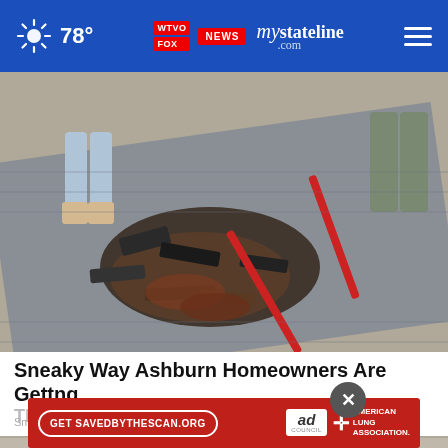78° mystateline.com NEWS
[Figure (photo): Workers removing old roof shingles from a residential rooftop, debris and torn shingles scattered on the roof surface]
Sneaky Way Ashburn Homeowners Are Getting Their Old Roof Replaced
Smart...
[Figure (other): Advertisement bar: Get SAVEDBYTHESCAN.ORG button with Ad Council and American Lung Association logos]